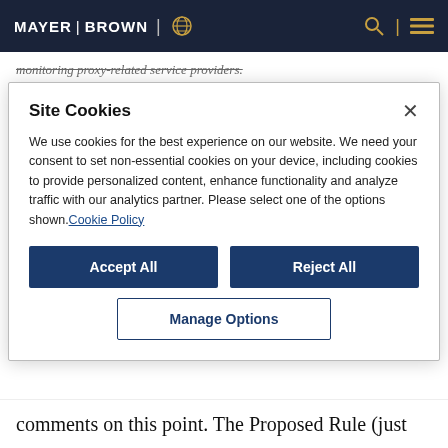MAYER | BROWN
monitoring proxy-related service providers.
The Proposed Rule allows fiduciaries to establish guidelines to assist in deciding whether to vote
Site Cookies
We use cookies for the best experience on our website. We need your consent to set non-essential cookies on your device, including cookies to provide personalized content, enhance functionality and analyze traffic with our analytics partner. Please select one of the options shown. Cookie Policy
comments on this point. The Proposed Rule (just